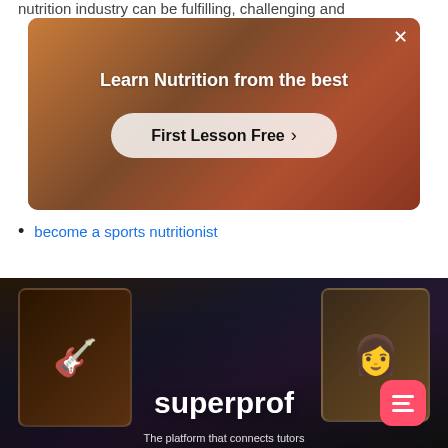nutrition industry can be fulfilling, challenging and
[Figure (screenshot): Advertisement banner with warm brown/orange background showing a person in a studio. Text reads 'Learn Nutrition from the best' with a 'First Lesson Free >' button and an X close button in the top right.]
become a sports nutritionist
[Figure (screenshot): Superprof website screenshot showing a dark background with phone cards displaying guitar players and a smiling person. The word 'superprof' is shown in large white bold text. A red/pink rounded square menu button is visible in the bottom right.]